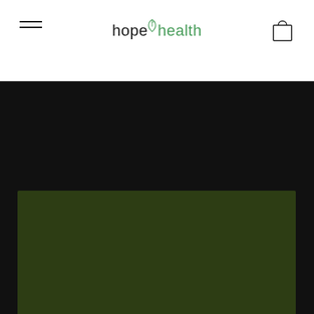hopehealth
[Figure (photo): Dark olive green rectangular image placeholder in a dark background section, likely a product or nature photo for Hope Health website]